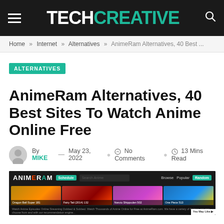TECHCREATIVE
Home » Internet » Alternatives » AnimeRam Alternatives, 40 Best ...
ALTERNATIVES
AnimeRam Alternatives, 40 Best Sites To Watch Anime Online Free
By MIKE — May 23, 2022  No Comments  13 Mins Read
[Figure (screenshot): Screenshot of the AnimeRam website showing the homepage with navigation bar (Schedule button, search field, Browse, Popular, Random buttons) and anime thumbnails (Dragon Ball Super 181, Fairy Tail (2014) 132, Naruto Shippuden 502, One Piece 513) with a footer text about watching anime online.]